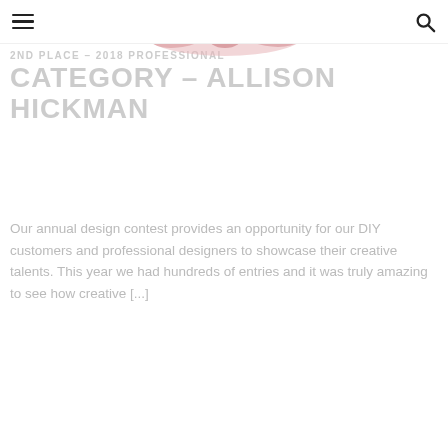2ND PLACE – 2018 PROFESSIONAL CATEGORY – ALLISON HICKMAN
Our annual design contest provides an opportunity for our DIY customers and professional designers to showcase their creative talents. This year we had hundreds of entries and it was truly amazing to see how creative [...]